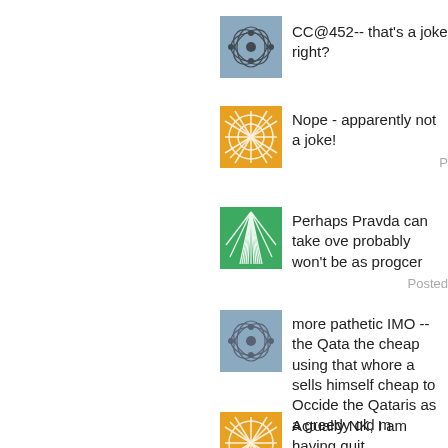[Figure (illustration): Blue avatar icon with abstract overlapping circle/node pattern]
CC@452-- that's a joke right?
[Figure (illustration): Orange avatar icon with abstract white line network pattern]
Nope - apparently not a joke!
P
[Figure (illustration): Green avatar icon with white starburst/feather pattern]
Perhaps Pravda can take ove probably won't be as progcer
Posted
[Figure (illustration): Blue/grey avatar icon with abstract overlapping circle/node pattern]
more pathetic IMO -- the Qata the cheap using that whore a sells himself cheap to Occide the Qataris as a greedy old m
[Figure (illustration): Orange avatar icon with abstract white line network pattern]
Actually NK, I am having quit
Al Jazeera may absorb som